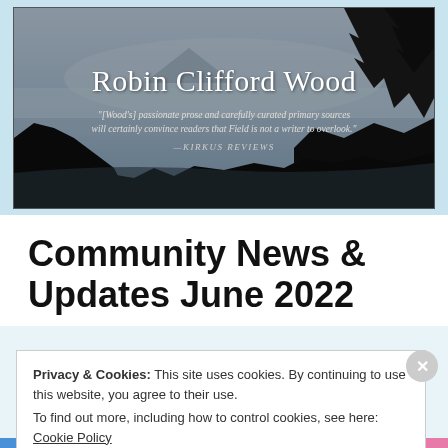[Figure (photo): Book cover or author banner image showing coastal cliffs and mountains in dark silhouette against a misty sky, with author name Robin Clifford Wood and a Kirkus Reviews quote overlaid on the image.]
Community News & Updates June 2022
Privacy & Cookies: This site uses cookies. By continuing to use this website, you agree to their use.
To find out more, including how to control cookies, see here: Cookie Policy
Close and accept